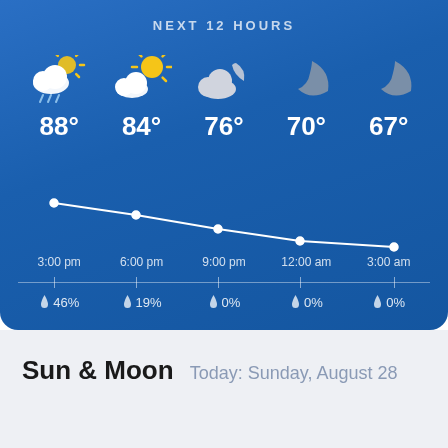NEXT 12 HOURS
[Figure (infographic): Weather forecast for next 12 hours showing 5 time slots with weather icons and temperatures. 3:00 pm: cloudy with rain 88°, 6:00 pm: partly cloudy/sunny 84°, 9:00 pm: cloudy night 76°, 12:00 am: crescent moon 70°, 3:00 am: crescent moon 67°. A descending line chart connects the temperature points. Precipitation: 46%, 19%, 0%, 0%, 0%.]
Sun & Moon
Today: Sunday, August 28